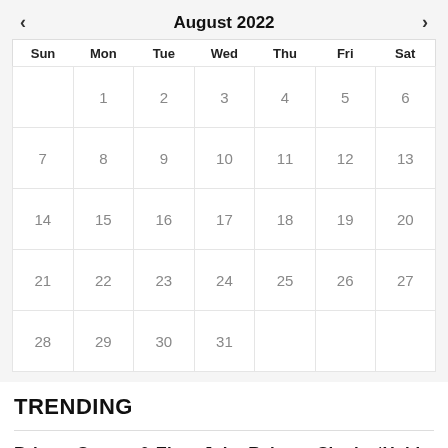[Figure (other): August 2022 monthly calendar with navigation arrows, day headers (Sun Mon Tue Wed Thu Fri Sat), and dates 1-31 in a grid layout]
TRENDING
Britney Spears & Elton John Release Single, ‘Hold Me Closer’